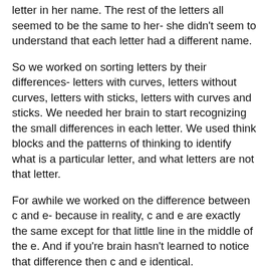letter in her name. The rest of the letters all seemed to be the same to her- she didn't seem to understand that each letter had a different name.
So we worked on sorting letters by their differences- letters with curves, letters without curves, letters with sticks, letters with curves and sticks. We needed her brain to start recognizing the small differences in each letter. We used think blocks and the patterns of thinking to identify what is a particular letter, and what letters are not that letter.
For awhile we worked on the difference between c and e- because in reality, c and e are exactly the same except for that little line in the middle of the e. And if you're brain hasn't learned to notice that difference then c and e identical.
We learned c and e, and moved on to differentiating between r, h, and n. Again, letters that can look similar unless your brain is trained to identify them by their differences.
We played feed the mouse- where we put the letters out in front of her and give her a stuffed animal mouse (I have the